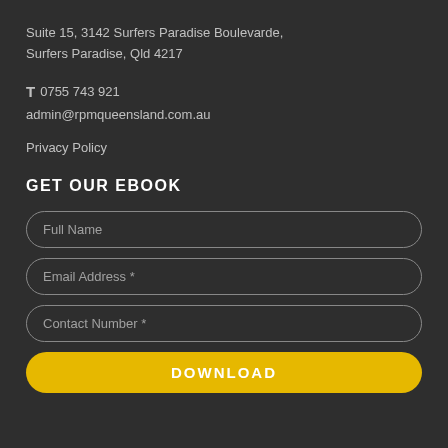Suite 15, 3142 Surfers Paradise Boulevarde,
Surfers Paradise, Qld 4217
T 0755 743 921
admin@rpmqueensland.com.au
Privacy Policy
GET OUR EBOOK
Full Name
Email Address *
Contact Number *
DOWNLOAD